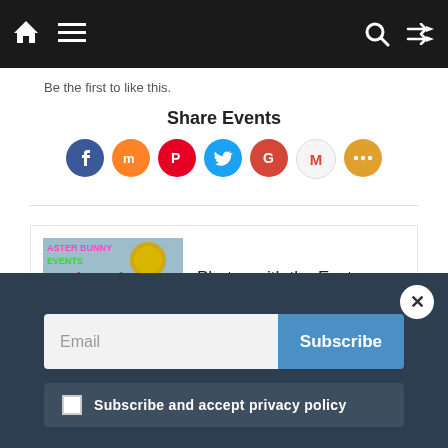Navigation bar with home, menu, search, and shuffle icons
Be the first to like this.
Share Events
[Figure (other): Social share icon buttons: Facebook (blue), Mix (orange), Pinterest (red), Twitter (blue), Google (red), Gmail (white/red M), More (amber)]
[Figure (photo): Easter Bunny Events thumbnail image showing cartoon bunnies, sun, tulips with text 'ASTER BUNNY EVENTS Family Friendly Calendar FamilyFriendlyCalendar.com']
Photos with the Easter Bunny Phoenix
Email
Subscribe
Subscribe and accept privacy policy